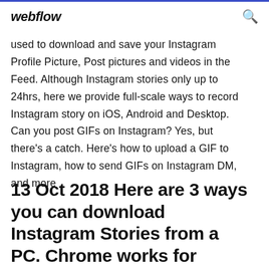webflow
used to download and save your Instagram Profile Picture, Post pictures and videos in the Feed. Although Instagram stories only up to 24hrs, here we provide full-scale ways to record Instagram story on iOS, Android and Desktop. Can you post GIFs on Instagram? Yes, but there's a catch. Here's how to upload a GIF to Instagram, how to send GIFs on Instagram DM, and more
13 Oct 2018 Here are 3 ways you can download Instagram Stories from a PC. Chrome works for images but has a hard time with